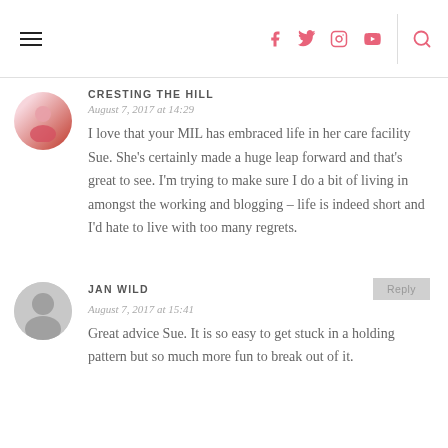Navigation header with hamburger menu, social icons (Facebook, Twitter, Instagram, YouTube), and search icon
CRESTING THE HILL
August 7, 2017 at 14:29
I love that your MIL has embraced life in her care facility Sue. She's certainly made a huge leap forward and that's great to see. I'm trying to make sure I do a bit of living in amongst the working and blogging – life is indeed short and I'd hate to live with too many regrets.
JAN WILD
August 7, 2017 at 15:41
Great advice Sue. It is so easy to get stuck in a holding pattern but so much more fun to break out of it.